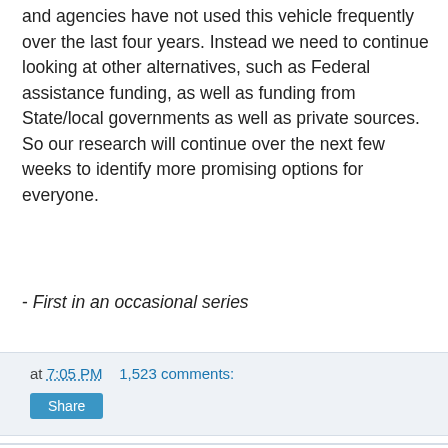and agencies have not used this vehicle frequently over the last four years.  Instead we need to continue looking at other alternatives, such as Federal assistance funding, as well as funding from State/local governments as well as private sources.  So our research will continue over the next few weeks to identify more promising options for everyone.
- First in an occasional series
at 7:05 PM    1,523 comments:
Share
Wednesday, May 11, 2016
When Citizen Science Results Look too Good to be True
This week there has been much excitement about a fifteen year-old Canadian high school student from discovering a